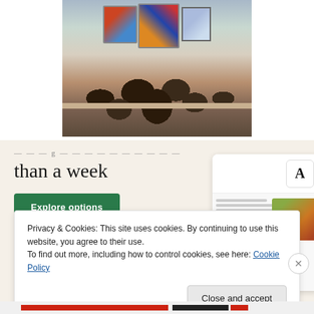[Figure (photo): Photo of an art/craft stall showing colorful artwork hanging on a wall above a table with many decorative pottery bowls and crafts arranged on display.]
[Figure (screenshot): Advertisement banner with cream/beige background showing partial text 'than a week', a green 'Explore options' button, and a mock website screenshot showing a food/recipe platform with an 'A' icon and food imagery.]
Privacy & Cookies: This site uses cookies. By continuing to use this website, you agree to their use.
To find out more, including how to control cookies, see here: Cookie Policy